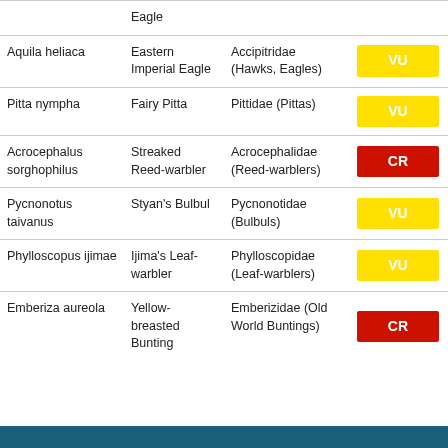| Scientific Name | Common Name | Family | Status |
| --- | --- | --- | --- |
| Aquila heliaca | Eastern Imperial Eagle | Accipitridae (Hawks, Eagles) | VU |
| Pitta nympha | Fairy Pitta | Pittidae (Pittas) | VU |
| Acrocephalus sorghophilus | Streaked Reed-warbler | Acrocephalidae (Reed-warblers) | CR |
| Pycnonotus taivanus | Styan's Bulbul | Pycnonotidae (Bulbuls) | VU |
| Phylloscopus ijimae | Ijima's Leaf-warbler | Phylloscopidae (Leaf-warblers) | VU |
| Emberiza aureola | Yellow-breasted Bunting | Emberizidae (Old World Buntings) | CR |